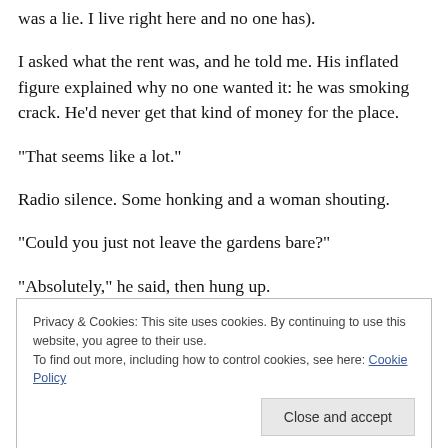was a lie.  I live right here and no one has).
I asked what the rent was, and he told me.  His inflated figure explained why no one wanted it:  he was smoking crack.  He'd never get that kind of money for the place.
“That seems like a lot.”
Radio silence.  Some honking and a woman shouting.
“Could you just not leave the gardens bare?”
“Absolutely,” he said, then hung up.
Privacy & Cookies: This site uses cookies. By continuing to use this website, you agree to their use.
To find out more, including how to control cookies, see here: Cookie Policy